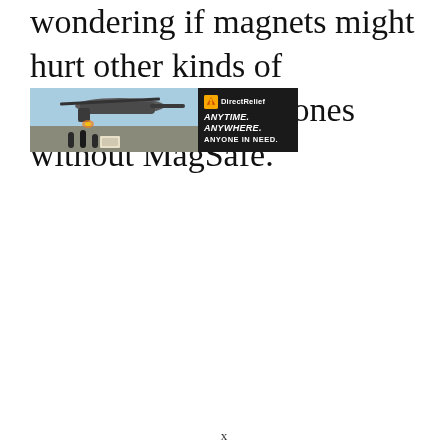wondering if magnets might hurt other kinds of smartphones or iPhones without MagSafe.
[Figure (photo): Advertisement banner for Direct Relief showing a helicopter on a tarmac with people unloading boxes, beside a dark panel with the DirectRelief logo and the tagline ANYTIME. ANYWHERE. ANYONE IN NEED.]
x